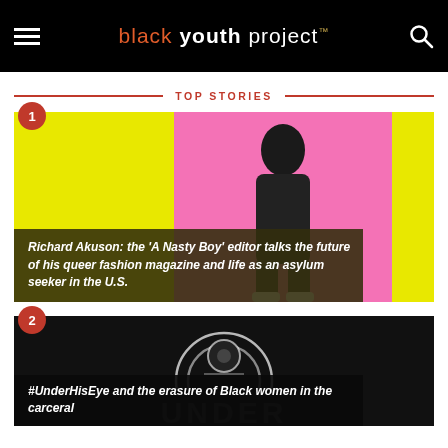black youth project™
TOP STORIES
[Figure (photo): Story card 1: Richard Akuson story with yellow background, pink panel, person standing, dark overlay with article title]
Richard Akuson: the 'A Nasty Boy' editor talks the future of his queer fashion magazine and life as an asylum seeker in the U.S.
[Figure (photo): Story card 2: #UnderHisEye article with dark background, circular graphic, and article title]
#UnderHisEye and the erasure of Black women in the carceral